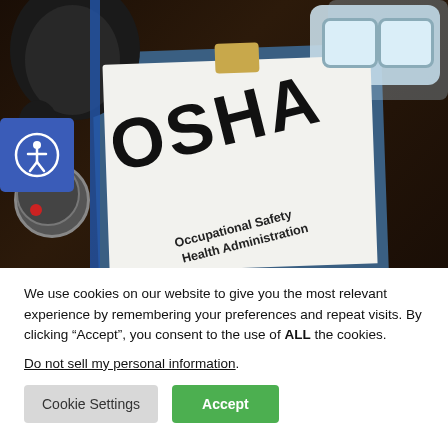[Figure (photo): Photo of an OSHA (Occupational Safety and Health Administration) clipboard document on a dark wooden desk, surrounded by safety equipment including headphones/earmuffs and safety goggles. The clipboard shows 'OSHA' in large bold text and 'Occupational Safety & Health Administration' below it. An accessibility icon (person in circle) badge is overlaid in the top-left corner on a blue square background.]
We use cookies on our website to give you the most relevant experience by remembering your preferences and repeat visits. By clicking “Accept”, you consent to the use of ALL the cookies.
Do not sell my personal information.